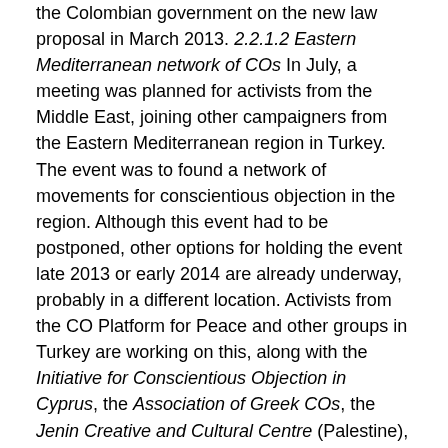the Colombian government on the new law proposal in March 2013. 2.2.1.2 Eastern Mediterranean network of COs In July, a meeting was planned for activists from the Middle East, joining other campaigners from the Eastern Mediterranean region in Turkey. The event was to found a network of movements for conscientious objection in the region. Although this event had to be postponed, other options for holding the event late 2013 or early 2014 are already underway, probably in a different location. Activists from the CO Platform for Peace and other groups in Turkey are working on this, along with the Initiative for Conscientious Objection in Cyprus, the Association of Greek COs, the Jenin Creative and Cultural Centre (Palestine), New Profile (Israel), No to Compulsory Military Service (Egypt) and others. 2.2.1.3 Greece Persecution of COs in Greece has sharply increased in 2013. We have been keeping in close contact with COs in Greece, particularly through the Association for Greek Conscientious Objectors, and raising awareness of their situation, including an article in The Broken Rifle, and a statement alongside the European Bureau for Conscientious Objection and Amnesty International in Greece. Their 'Open